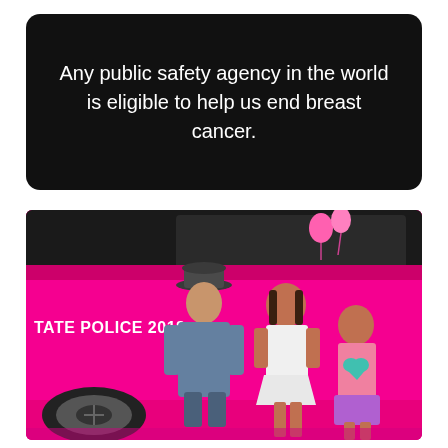Any public safety agency in the world is eligible to help us end breast cancer.
[Figure (photo): A state police officer in uniform crouching down beside two young girls in front of a bright pink police car labeled 'STATE POLICE 2018'. Pink balloons are visible in the background.]